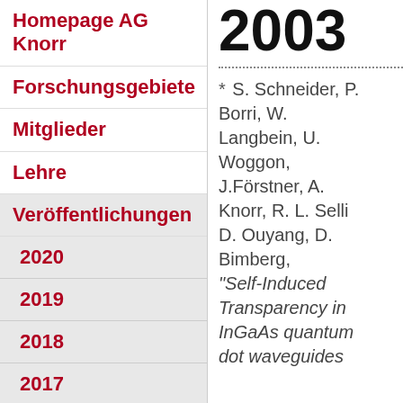Homepage AG Knorr
Forschungsgebiete
Mitglieder
Lehre
Veröffentlichungen
2020
2019
2018
2017
2016
2003
* S. Schneider, P. Borri, W. Langbein, U. Woggon, J.Förstner, A. Knorr, R. L. Sellin, D. Ouyang, D. Bimberg, "Self-Induced Transparency in InGaAs quantum dot waveguides